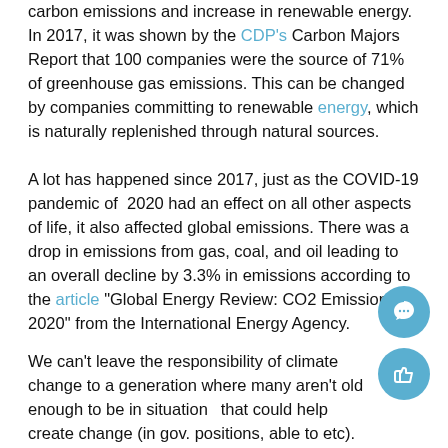carbon emissions and increase in renewable energy. In 2017, it was shown by the CDP's Carbon Majors Report that 100 companies were the source of 71% of greenhouse gas emissions. This can be changed by companies committing to renewable energy, which is naturally replenished through natural sources.
A lot has happened since 2017, just as the COVID-19 pandemic of 2020 had an effect on all other aspects of life, it also affected global emissions. There was a drop in emissions from gas, coal, and oil leading to an overall decline by 3.3% in emissions according to the article "Global Energy Review: CO2 Emissions in 2020" from the International Energy Agency.
We can't leave the responsibility of climate change to a generation where many aren't old enough to be in situations that could help create change (in gov. positions, able to etc). All generations offer a unique perspective to an issue